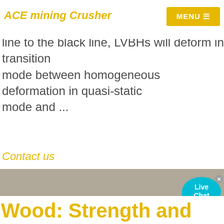ACE mining Crusher | MENU
this mode. As the crushing velocity ranges from line to the black line, LVBHs will deform in transition mode between homogeneous deformation in quasi-static mode and ...
Contact us
[Figure (photo): Large industrial cone crusher machine, white and red, with bolts and base plate, outdoors with a worker visible on the right side. AMC logo watermarked at bottom right.]
Wood: Strength and